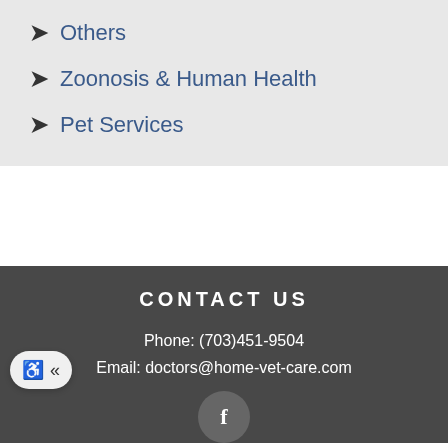Others
Zoonosis & Human Health
Pet Services
CONTACT US
Phone: (703)451-9504
Email: doctors@home-vet-care.com